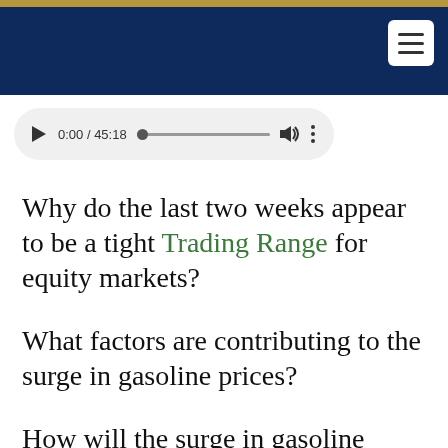[Figure (screenshot): Audio player widget showing 0:00 / 45:18 with play button, progress bar, volume and menu icons]
Why do the last two weeks appear to be a tight Trading Range for equity markets?
What factors are contributing to the surge in gasoline prices?
How will the surge in gasoline prices potentially impact the economy?